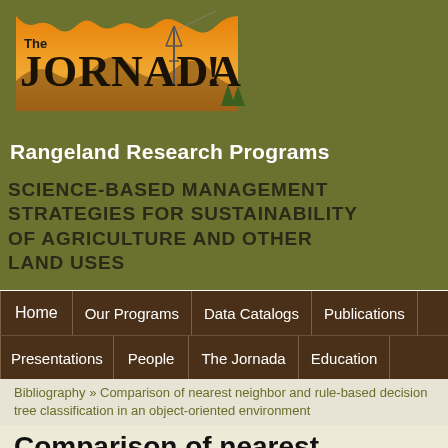[Figure (logo): The Jornada Rangeland Research Programs logo with orange/golden desert landscape silhouette and radio tower]
Rangeland Research Programs
Science-based management strategies for sustainability of agriculture and other land uses
Home | Our Programs | Data Catalogs | Publications | Presentations | People | The Jornada | Education
Bibliography » Comparison of nearest neighbor and rule-based decision tree classification in an object-oriented environment
Comparison of nearest